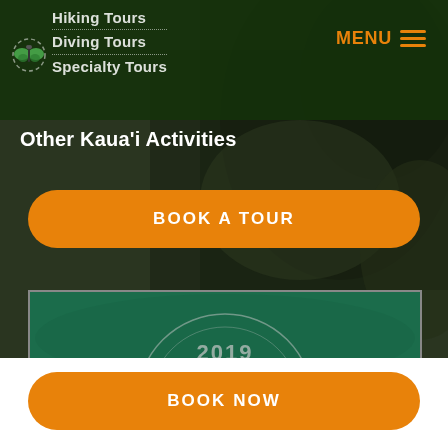MENU
Hiking Tours
Diving Tours
Specialty Tours
Other Kaua'i Activities
[Figure (screenshot): Orange rounded button reading BOOK A TOUR on dark background]
[Figure (photo): Teal/green underwater or aerial image with circle overlay and text 2019]
[Figure (screenshot): Orange rounded button reading BOOK NOW on white background]